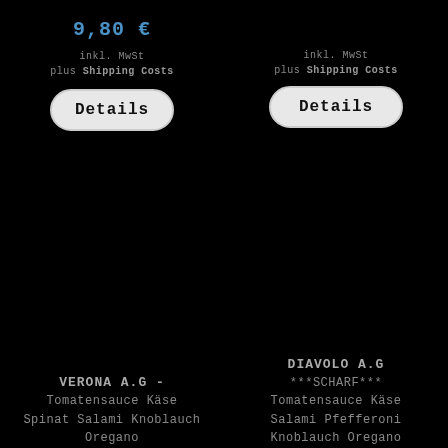9,80 €
inkl. MwSt
plus Shipping Costs
Details
inkl. MwSt
plus Shipping Costs
Details
VERONA A.G - Tomatensauce Käse Spinat Salami Knoblauch Oregano
DIAVOLO A.G ***SCHARF*** Tomatensauce Käse Salami Pfefferoni Knoblauch Oregano